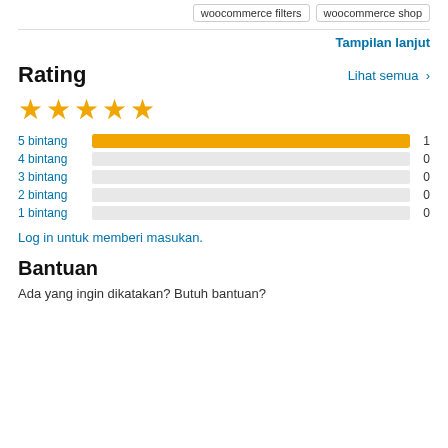woocommerce filters   woocommerce shop
Tampilan lanjut
Rating
[Figure (other): 5 yellow stars rating display]
[Figure (bar-chart): Rating breakdown]
Log in untuk memberi masukan.
Bantuan
Ada yang ingin dikatakan? Butuh bantuan?